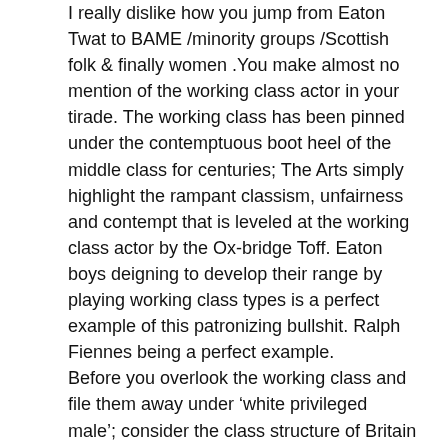I really dislike how you jump from Eaton Twat to BAME /minority groups /Scottish folk & finally women .You make almost no mention of the working class actor in your tirade. The working class has been pinned under the contemptuous boot heel of the middle class for centuries; The Arts simply highlight the rampant classism, unfairness and contempt that is leveled at the working class actor by the Ox-bridge Toff. Eaton boys deigning to develop their range by playing working class types is a perfect example of this patronizing bullshit. Ralph Fiennes being a perfect example.
Before you overlook the working class and file them away under ‘white privileged male’; consider the class structure of Britain running like an iron bar across the length and breadth of the country. Working class people are hugely unrepresented in all forms of art, for god's sake look at the BBC. The working class are a